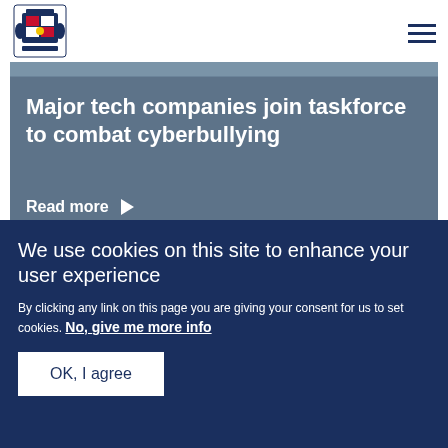UK Government - Header with coat of arms and navigation menu
[Figure (screenshot): Main article card with steel-blue background showing article title area]
Major tech companies join taskforce to combat cyberbullying
Read more ▶
PRESS RELEASE    11 JUNE 2018
We use cookies on this site to enhance your user experience
By clicking any link on this page you are giving your consent for us to set cookies. No, give me more info
OK, I agree